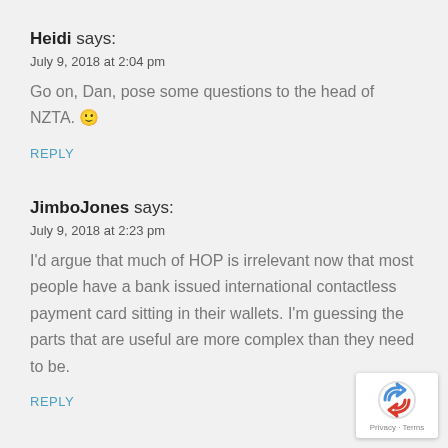Heidi says:
July 9, 2018 at 2:04 pm
Go on, Dan, pose some questions to the head of NZTA. 🙂
REPLY
JimboJones says:
July 9, 2018 at 2:23 pm
I'd argue that much of HOP is irrelevant now that most people have a bank issued international contactless payment card sitting in their wallets. I'm guessing the parts that are useful are more complex than they need to be.
REPLY